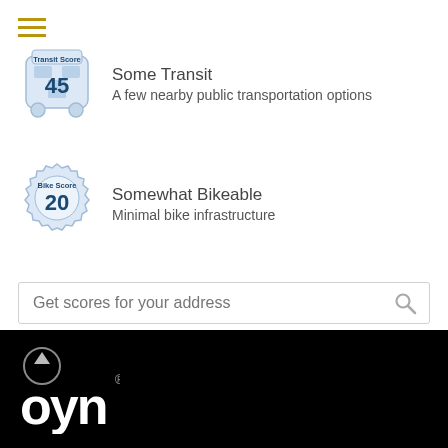[Figure (infographic): Transit Score badge showing score of 45 with bus icon, labeled 'Transit Score']
Some Transit
A few nearby public transportation options
[Figure (infographic): Bike Score badge showing score of 20 with gear/badge icon, labeled 'Bike Score']
Somewhat Bikeable
Minimal bike infrastructure
View map of nearby restaurants, grocery stores, and more.
Get scores for your address
[Figure (logo): OYN logo in white on black background with upward arrow circle icon]